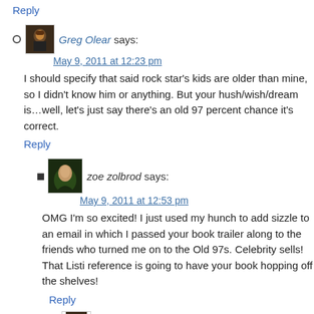Reply
Greg Olear says:
May 9, 2011 at 12:23 pm
I should specify that said rock star's kids are older than mine, so I didn't know him or anything. But your hush/wish/dream is…well, let's just say there's an old 97 percent chance it's correct.
Reply
zoe zolbrod says:
May 9, 2011 at 12:53 pm
OMG I'm so excited! I just used my hunch to add sizzle to an email in which I passed your book trailer along to the friends who turned me on to the Old 97s. Celebrity sells! That Listi reference is going to have your book hopping off the shelves!
Reply
Greg Olear says: